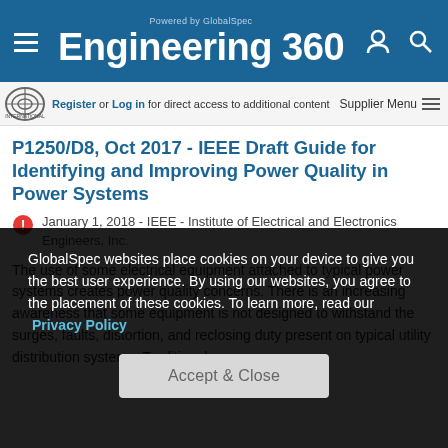Powered by GlobalSpec · Engineering 360
Register or Log in for direct access to additional content · Supplier Menu
P1250/D8, Oct 2017 - IEEE Draft Guide for Identifying and Improving Power Quality in Power Systems
January 1, 2018 - IEEE - Institute of Electrical and Electronics Engineers, Inc.
The use of some electrical equipment attached to typical power systems creates power quality concerns. There is an increasing awareness that some equipment is not designed to withstand the surges, faults, distortion, and reclosing duty present on typical utility distribution systems. Traditional con...
GlobalSpec websites place cookies on your device to give you the best user experience. By using our websites, you agree to the placement of these cookies. To learn more, read our Privacy Policy
Accept & Close